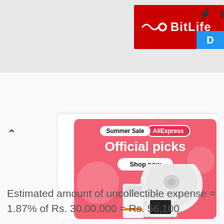[Figure (screenshot): BitLife app advertisement banner with red background showing BitLife logo with white circle icon and bold white text 'BitLife', and a blue tab partially visible on the right]
[Figure (screenshot): AliExpress Summer Sale advertisement banner with pink/salmon background. Shows 'Summer Sale AliExpress' badge at top, large white text 'Official picks', a 'Shop now' button, and product images including a robot vacuum, Nintendo Switch OLED, and a gaming PC/console.]
Estimated amount of uncollectible expense = 1.87% of Rs. 30,00,000 = Rs. 56,100